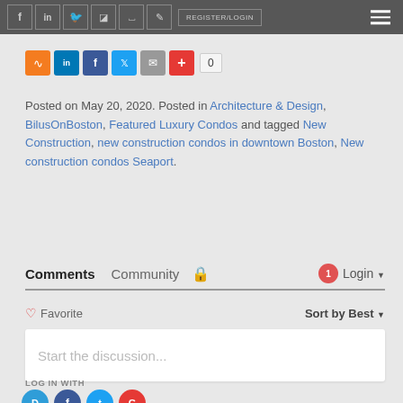Navigation bar with social icons, REGISTER/LOGIN button, and hamburger menu
[Figure (infographic): Social share buttons: RSS (orange), LinkedIn (blue), Facebook (dark blue), Twitter (light blue), Email (gray), Plus/red, with count badge showing 0]
Posted on May 20, 2020. Posted in Architecture & Design, BilusOnBoston, Featured Luxury Condos and tagged New Construction, new construction condos in downtown Boston, New construction condos Seaport.
Comments  Community  [lock icon]  [1 notification] Login ▼
♡ Favorite   Sort by Best ▼
Start the discussion...
LOG IN WITH
[Figure (infographic): Social login icons: Disqus (blue), Facebook (dark blue), Twitter (light blue), Google (red)]